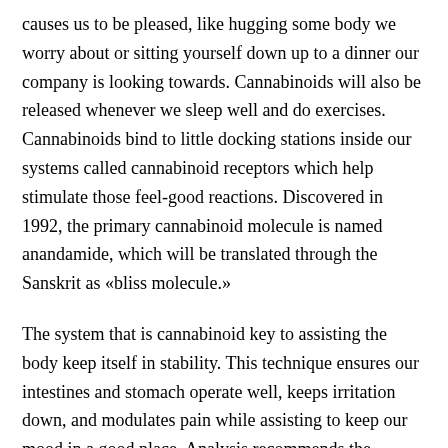causes us to be pleased, like hugging some body we worry about or sitting yourself down up to a dinner our company is looking towards. Cannabinoids will also be released whenever we sleep well and do exercises. Cannabinoids bind to little docking stations inside our systems called cannabinoid receptors which help stimulate those feel-good reactions. Discovered in 1992, the primary cannabinoid molecule is named anandamide, which will be translated through the Sanskrit as «bliss molecule.»
The system that is cannabinoid key to assisting the body keep itself in stability. This technique ensures our intestines and stomach operate well, keeps irritation down, and modulates pain while assisting to keep our mood in a good place. Analysis recommends the cannabinoids from CBD can stop the break down of anandamide. As soon as we retain more anandamide within our human body, there's more bliss.
Will CBD oil make me personally high, like cannabis?